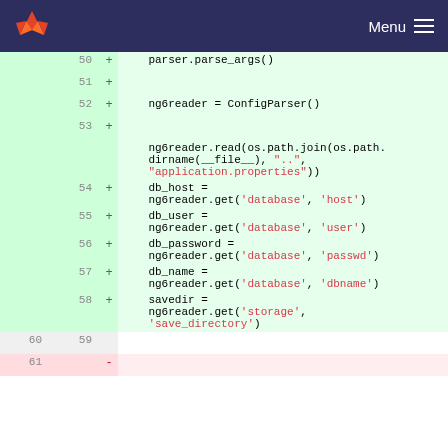GitLab Menu
[Figure (screenshot): Code diff view showing lines 50-61 of a Python file. Lines 50-58 are added (green). Lines 53-58 show ConfigParser setup reading application.properties and extracting database and storage config. Line 60/59 is neutral. Line 61 is removed (red dash).]